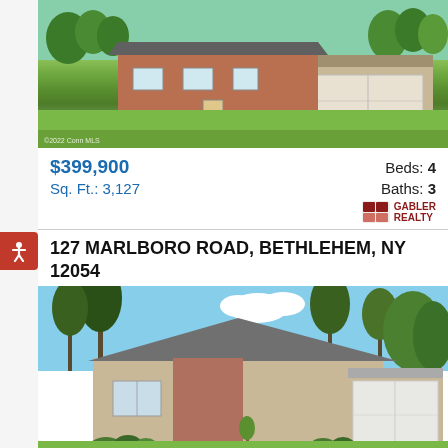[Figure (photo): Exterior photo of a brick ranch-style house with large lawn, shrubs, and attached garage. Green lawn in foreground. Watermark reads '©2022 Conn MLS'.]
$399,900
Beds: 4
Sq. Ft.: 3,127
Baths: 3
[Figure (logo): Gabler Realty logo — red icon and text reading GABLER REALTY]
127 MARLBORO ROAD, BETHLEHEM, NY 12054
[Figure (photo): Exterior photo of a tan/beige ranch-style house with attached garage, trees, blue sky with clouds, and green lawn.]